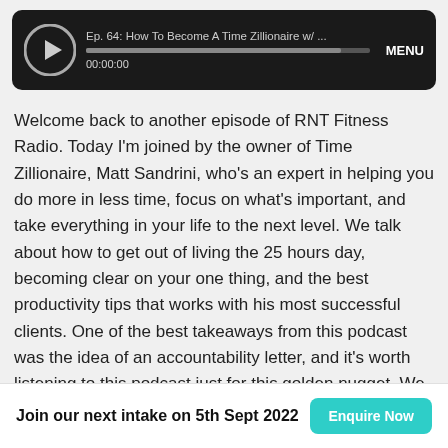[Figure (screenshot): Podcast audio player with play button, episode title 'Ep. 64: How To Become A Time Zillionaire w/ ...', progress bar, timestamp 00:00:00, and MENU label on dark background]
Welcome back to another episode of RNT Fitness Radio. Today I'm joined by the owner of Time Zillionaire, Matt Sandrini, who's an expert in helping you do more in less time, focus on what's important, and take everything in your life to the next level. We talk about how to get out of living the 25 hours day, becoming clear on your one thing, and the best productivity tips that works with his most successful clients. One of the best takeaways from this podcast was the idea of an accountability letter, and it's worth listening to this podcast just for this golden nugget. We also dive into journaling, scientific advancements in
Join our next intake on 5th Sept 2022
Enquire Now